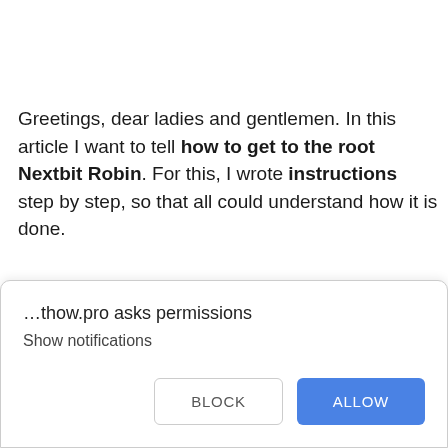Greetings, dear ladies and gentlemen. In this article I want to tell how to get to the root Nextbit Robin. For this, I wrote instructions step by step, so that all could understand how it is done.
[Figure (screenshot): Browser permission dialog box. Title: '…thow.pro asks permissions'. Subtitle: 'Show notifications'. Two buttons: 'BLOCK' (outlined) and 'ALLOW' (blue filled).]